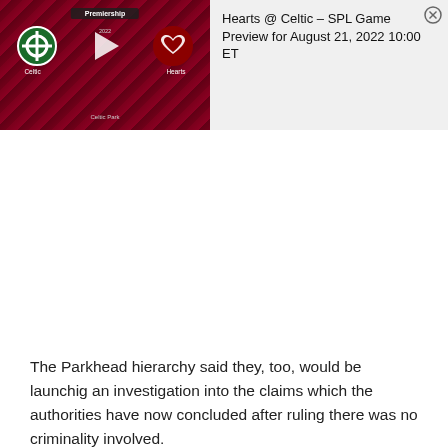[Figure (screenshot): Video thumbnail showing a Scottish Premiership match preview: Celtic vs Hearts at Celtic Park, with team logos and a play button on a dark red geometric background. Text reads 'Premiership', 'Celtic', 'Hearts', 'Celtic Park'.]
Hearts @ Celtic – SPL Game Preview for August 21, 2022 10:00 ET
The Parkhead hierarchy said they, too, would be launching an investigation into the claims which the authorities have now concluded after ruling there was no criminality involved.